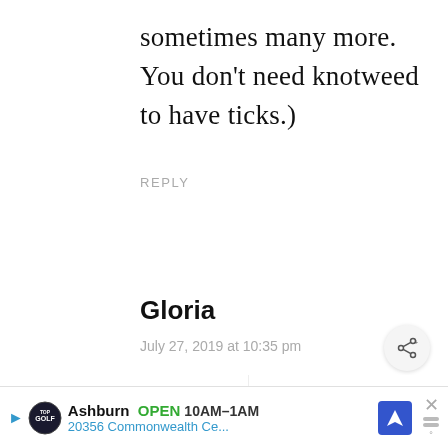sometimes many more. You don’t need knotweed to have ticks.)
REPLY
Gloria
July 27, 2019 at 10:35 pm
Ashley, where did you find t… information about knotweed being
[Figure (screenshot): WHAT'S NEXT arrow label with thumbnail image of garlic bulb and text 'How to Plant Garlic in the...']
[Figure (infographic): Advertisement bar: Topgolf Ashburn OPEN 10AM-1AM 20356 Commonwealth Ce... with navigation icon and close button]